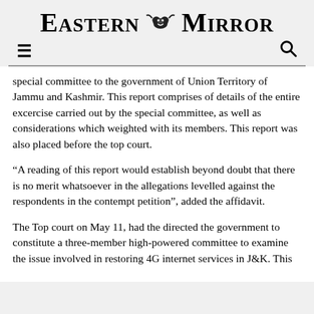Eastern Mirror
special committee to the government of Union Territory of Jammu and Kashmir. This report comprises of details of the entire excercise carried out by the special committee, as well as considerations which weighted with its members. This report was also placed before the top court.
“A reading of this report would establish beyond doubt that there is no merit whatsoever in the allegations levelled against the respondents in the contempt petition”, added the affidavit.
The Top court on May 11, had the directed the government to constitute a three-member high-powered committee to examine the issue involved in restoring 4G internet services in J&K. This committee was headed by MHA Secretary, and